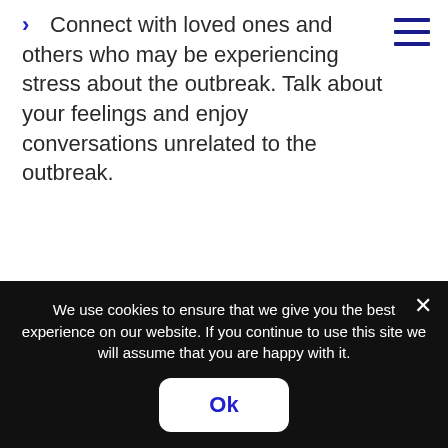Connect with loved ones and others who may be experiencing stress about the outbreak. Talk about your feelings and enjoy conversations unrelated to the outbreak.
For support during this time, there are a number of national and local services offering telephone and email contact, as well as apps full of useful information to help you stay safe:
Samaritans
Mind in Mid Herts
We use cookies to ensure that we give you the best experience on our website. If you continue to use this site we will assume that you are happy with it.